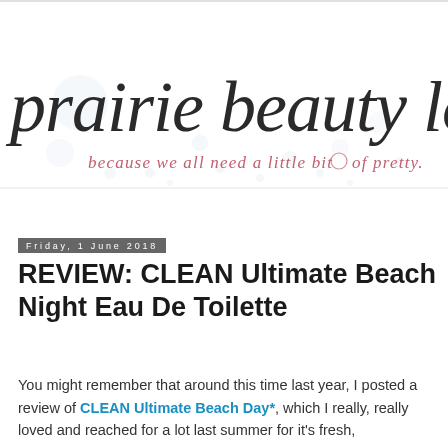[Figure (logo): Prairie Beauty Love blog logo — cursive script 'prairie beauty love' with tagline 'because we all need a little bit of pretty.' in pink, with decorative dot/snowflake background]
Friday, 1 June 2018
REVIEW: CLEAN Ultimate Beach Night Eau De Toilette
You might remember that around this time last year, I posted a review of CLEAN Ultimate Beach Day*, which I really, really loved and reached for a lot last summer for it's fresh,